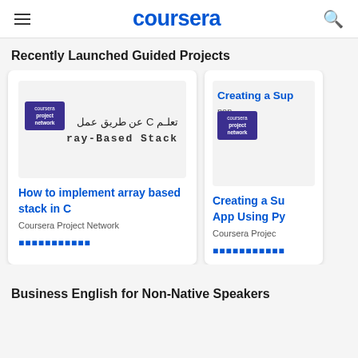coursera
Recently Launched Guided Projects
[Figure (screenshot): Coursera course card: How to implement array based stack in C, with Arabic text overlay and Coursera Project Network logo]
How to implement array based stack in C
Coursera Project Network
[Figure (screenshot): Partially visible Coursera course card: Creating a Su... App Using Py..., Coursera Project Network]
Creating a Su... App Using Py...
Coursera Projec...
Business English for Non-Native Speakers